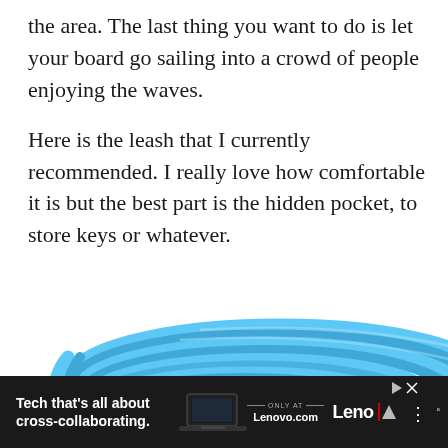the area. The last thing you want to do is let your board go sailing into a crowd of people enjoying the waves.

Here is the leash that I currently recommended. I really love how comfortable it is but the best part is the hidden pocket, to store keys or whatever.
[Figure (photo): A blue coiled surfboard leash with a black ankle strap attachment, shown curled in a circular shape against a white background, partially cut off at the bottom.]
Tech that's all about cross-collaborating. | ONLY AT Lenovo.com | Leno X | (wifi icon)